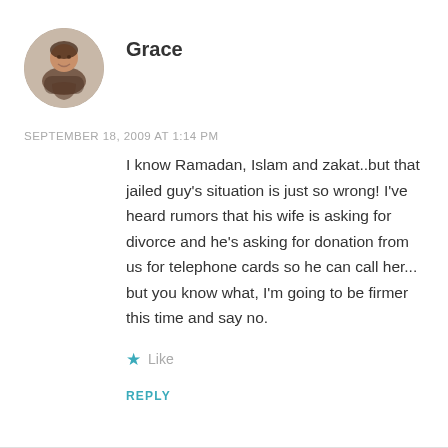[Figure (photo): Round avatar photo of a woman named Grace]
Grace
SEPTEMBER 18, 2009 AT 1:14 PM
I know Ramadan, Islam and zakat..but that jailed guy's situation is just so wrong! I've heard rumors that his wife is asking for divorce and he's asking for donation from us for telephone cards so he can call her... but you know what, I'm going to be firmer this time and say no.
★ Like
REPLY